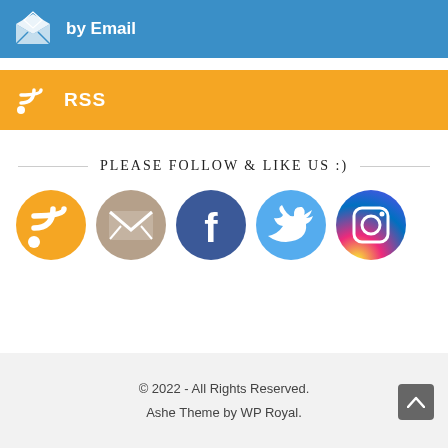[Figure (infographic): Blue bar with email icon and 'by Email' text]
[Figure (infographic): Orange bar with RSS icon and 'RSS' text]
PLEASE FOLLOW & LIKE US :)
[Figure (infographic): Row of 5 social media icons: RSS (orange), Email (tan), Facebook (blue), Twitter (light blue), Instagram (gradient)]
© 2022 - All Rights Reserved.
Ashe Theme by WP Royal.